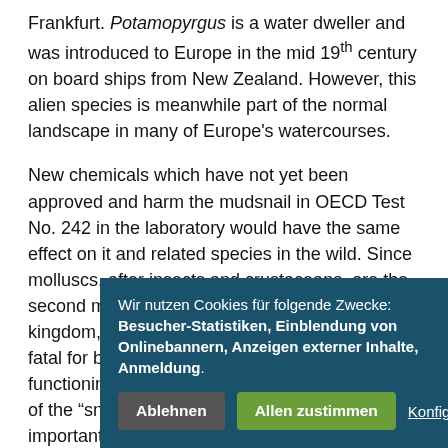Frankfurt. Potamopyrgus is a water dweller and was introduced to Europe in the mid 19th century on board ships from New Zealand. However, this alien species is meanwhile part of the normal landscape in many of Europe's watercourses.
New chemicals which have not yet been approved and harm the mudsnail in OECD Test No. 242 in the laboratory would have the same effect on it and related species in the wild. Since molluscs, after insects and crustaceans, are the second most species-rich group in the animal kingdom, the loss of these organisms would be fatal for biodiversity and thus also for the correct functioning of the ecosystems. The development of the “snail test” therefore constitutes an important contribution to keeping our watercourses clean and healthy, since substances which show a toxic effect in this test for the snail can in future be identified and controlled prior to market introduction.
In addition to environmental tests (insect to be subst
Wir nutzen Cookies für folgende Zwecke: Besucher-Statistiken, Einblendung von Onlinebannern, Anzeigen externer Inhalte, Anmeldung.
Ablehnen | Allen zustimmen | Konfiguration ansehen...